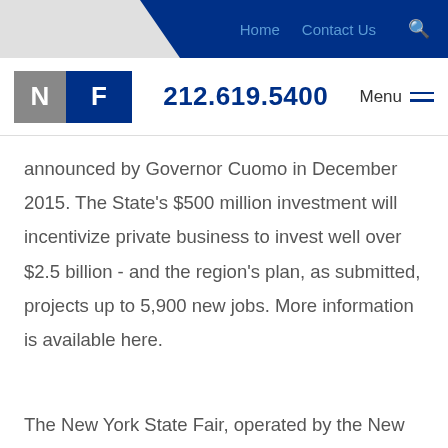Home  Contact Us  🔍
N F  212.619.5400  Menu
announced by Governor Cuomo in December 2015. The State's $500 million investment will incentivize private business to invest well over $2.5 billion - and the region's plan, as submitted, projects up to 5,900 new jobs. More information is available here.
The New York State Fair, operated by the New